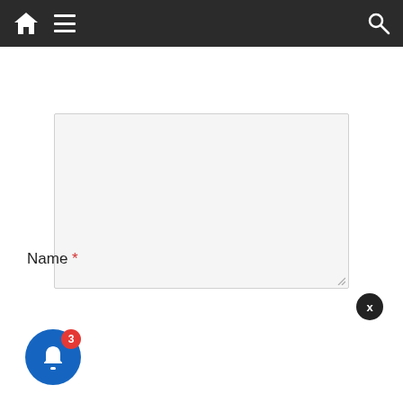[Figure (screenshot): Navigation bar with home icon, menu icon, and search icon on dark background]
[Figure (screenshot): Large text area input box, light gray background, resize handle at bottom right]
Name *
[Figure (screenshot): Name text input field, light gray]
[Figure (screenshot): Notification popup: 'HMRC issues winding up petition against PPE firm linked' - 47 minutes ago; blue bell icon with badge showing 3]
D